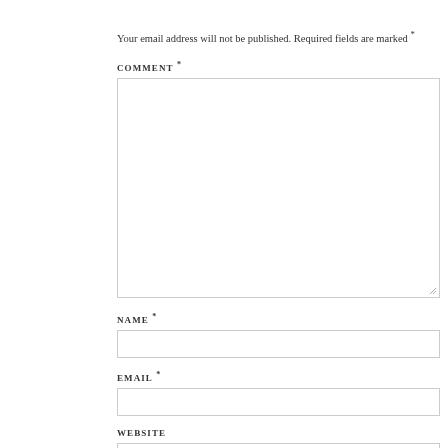Your email address will not be published. Required fields are marked *
COMMENT *
[Figure (other): Large empty comment textarea input field with resize handle]
NAME *
[Figure (other): Single-line text input field for name]
EMAIL *
[Figure (other): Single-line text input field for email]
WEBSITE
[Figure (other): Single-line text input field for website]
Post Comment
[Figure (other): Checkbox (unchecked)]